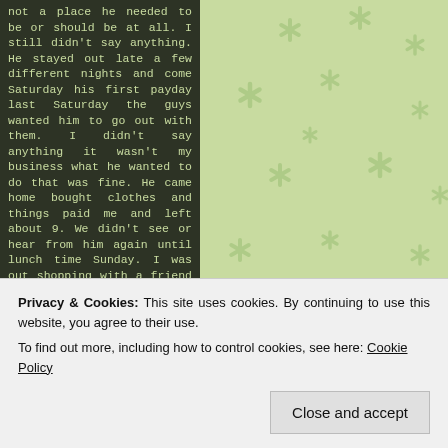[Figure (illustration): Light green background with decorative flower/asterisk pattern repeated across the page]
not a place he needed to be or should be at all. I still didn't say anything. He stayed out late a few different nights and come Saturday his first payday last Saturday the guys wanted him to go out with them. I didn't say anything it wasn't my business what he wanted to do that was fine. He came home bought clothes and things paid me and left about 9. We didn't see or hear from him again until lunch time Sunday. I was out shopping with a friend and lunch. We just sat down to eat and he text saying he was on his way home. I said okay and left it at that. He said he was walking from the street up here in front of the are I live
Privacy & Cookies: This site uses cookies. By continuing to use this website, you agree to their use.
To find out more, including how to control cookies, see here: Cookie Policy
Close and accept